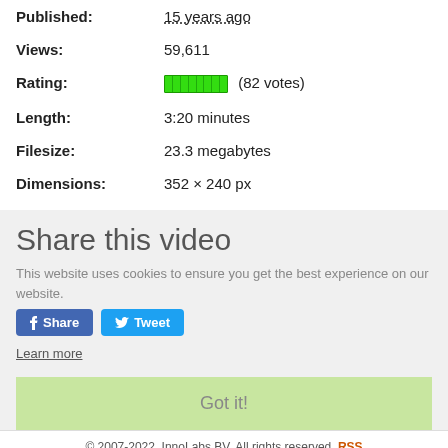Published: 15 years ago
Views: 59,611
Rating: [bar] (82 votes)
Length: 3:20 minutes
Filesize: 23.3 megabytes
Dimensions: 352 × 240 px
Share this video
This website uses cookies to ensure you get the best experience on our website.
Learn more
Got it!
© 2007-2022, InnoLabs BV. All rights reserved. RSS